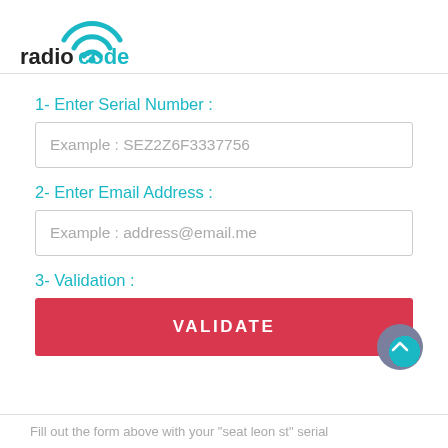[Figure (logo): Radiocode logo with wifi signal arc icon above the text. 'radio' in black bold, 'code' in teal/cyan bold.]
1- Enter Serial Number :
Example : SEZ2Z6F3337756
2- Enter Email Address :
Example : address@email.me
3- Validation :
VALIDATE
Fill out the form above with your "seat leon st" serial